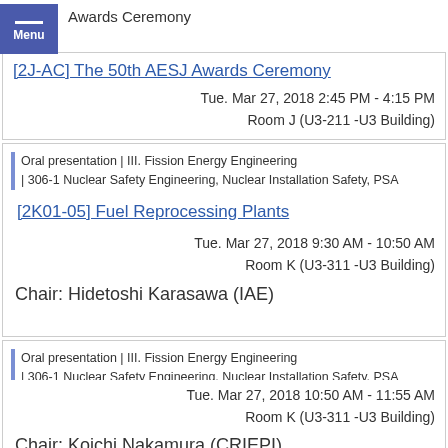Awards Ceremony
[2J-AC] The 50th AESJ Awards Ceremony
Tue. Mar 27, 2018 2:45 PM - 4:15 PM
Room J (U3-211 -U3 Building)
Oral presentation | III. Fission Energy Engineering | 306-1 Nuclear Safety Engineering, Nuclear Installation Safety, PSA
[2K01-05] Fuel Reprocessing Plants
Tue. Mar 27, 2018 9:30 AM - 10:50 AM
Room K (U3-311 -U3 Building)
Chair: Hidetoshi Karasawa (IAE)
Oral presentation | III. Fission Energy Engineering | 306-1 Nuclear Safety Engineering, Nuclear Installation Safety, PSA
[2K06-09] PRA 2
Tue. Mar 27, 2018 10:50 AM - 11:55 AM
Room K (U3-311 -U3 Building)
Chair: Koichi Nakamura (CRIEPI)